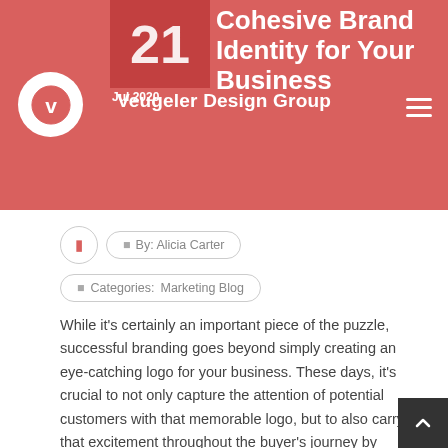Veugeler Design Group
Cohesive Brand Identity for Your Business
21 Jul 2020
By: Alicia Carter
Categories: Marketing Blog
While it's certainly an important piece of the puzzle, successful branding goes beyond simply creating an eye-catching logo for your business. These days, it's crucial to not only capture the attention of potential customers with that memorable logo, but to also carry that excitement throughout the buyer's journey by crafting a cohesive brand identity across your digital and traditional